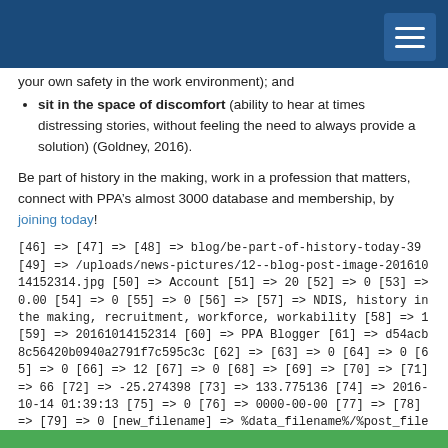your own safety in the work environment); and
sit in the space of discomfort (ability to hear at times distressing stories, without feeling the need to always provide a solution) (Goldney, 2016).
Be part of history in the making, work in a profession that matters, connect with PPA’s almost 3000 database and membership, by joining today!
[46] => [47] => [48] => blog/be-part-of-history-today-39 [49] => /uploads/news-pictures/12--blog-post-image-20161014152314.jpg [50] => Account [51] => 20 [52] => 0 [53] => 0.00 [54] => 0 [55] => 0 [56] => [57] => NDIS, history in the making, recruitment, workforce, workability [58] => 1 [59] => 20161014152314 [60] => PPA Blogger [61] => d54acb8c56420b0940a2791f7c595c3c [62] => [63] => 0 [64] => 0 [65] => 0 [66] => 12 [67] => 0 [68] => [69] => [70] => [71] => 66 [72] => -25.274398 [73] => 133.775136 [74] => 2016-10-14 01:39:13 [75] => 0 [76] => 0000-00-00 [77] => [78] => [79] => 0 [new_filename] => %data_filename%/%post_filename% )